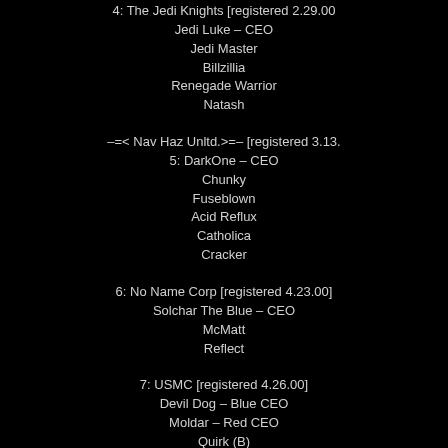4: The Jedi Knights [registered 2.29.00]
Jedi Luke – CEO
Jedi Master
Billzillia
Renegade Warrior
Natash
–=< Nav Haz Unltd.>=– [registered 3.13.]
5: DarkOne – CEO
Chunky
Fuseblown
Acid Reflux
Catholica
Cracker
6: No Name Corp [registered 4.23.00]
Solchar The Blue – CEO
McMatt
Reflect
7: USMC [registered 4.26.00]
Devil Dog – Blue CEO
Moldar – Red CEO
Quirk (B)
Hekate (B)